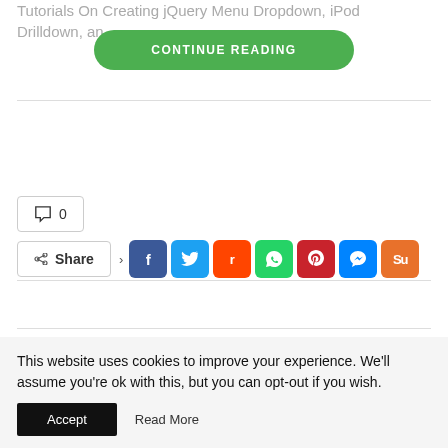Tutorials On Creating jQuery Menu Dropdown, iPod Drilldown, and
CONTINUE READING
💬 0
Share
← PREV POST
NEXT POST →
This website uses cookies to improve your experience. We'll assume you're ok with this, but you can opt-out if you wish.
Accept
Read More